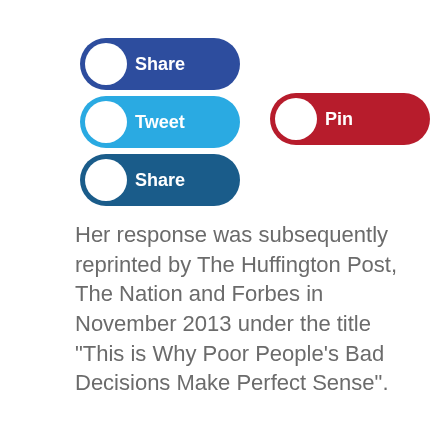[Figure (illustration): Three toggle/share buttons stacked vertically on the left: a dark blue 'Share' button, a light blue 'Tweet' button, and a dark teal 'Share' button. To the right of the Tweet button is a red 'Pin' button. All buttons have a white circle on the left side resembling a toggle switch.]
Her response was subsequently reprinted by The Huffington Post, The Nation and Forbes in November 2013 under the title "This is Why Poor People's Bad Decisions Make Perfect Sense".